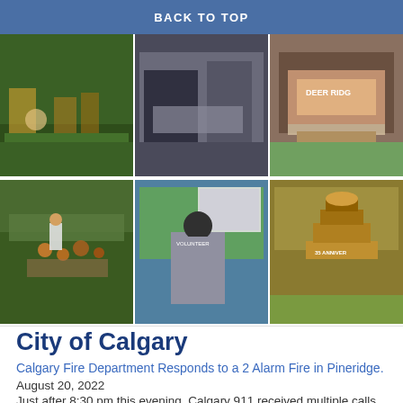BACK TO TOP
[Figure (photo): 6-photo grid showing community event scenes: people on grass, food/drink close-up, Deer Ridge anniversary cake (top row); group of people in chairs on grass, volunteer with back turned watching outdoor movie screen, 35th anniversary Deer Ridge cake close-up (bottom row)]
City of Calgary
Calgary Fire Department Responds to a 2 Alarm Fire in Pineridge.
August 20, 2022
Just after 8:30 pm this evening, Calgary 911 received multiple calls for a house fire on Pinecliff Close NE.The